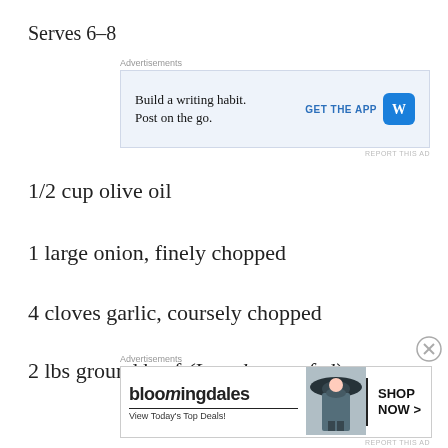Serves 6-8
[Figure (other): Advertisement banner for WordPress app: 'Build a writing habit. Post on the go.' with GET THE APP button and WordPress logo]
1/2 cup olive oil
1 large onion, finely chopped
4 cloves garlic, coursely chopped
2 lbs ground beef (I used grass-fed)
[Figure (other): Advertisement banner for Bloomingdales: 'View Today's Top Deals!' with SHOP NOW > button and image of woman in hat]